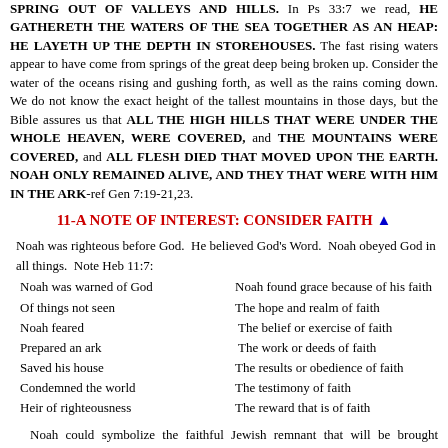SPRING OUT OF VALLEYS AND HILLS. In Ps 33:7 we read, HE GATHERETH THE WATERS OF THE SEA TOGETHER AS AN HEAP: HE LAYETH UP THE DEPTH IN STOREHOUSES. The fast rising waters appear to have come from springs of the great deep being broken up. Consider the water of the oceans rising and gushing forth, as well as the rains coming down. We do not know the exact height of the tallest mountains in those days, but the Bible assures us that ALL THE HIGH HILLS THAT WERE UNDER THE WHOLE HEAVEN, WERE COVERED, and THE MOUNTAINS WERE COVERED, and ALL FLESH DIED THAT MOVED UPON THE EARTH. NOAH ONLY REMAINED ALIVE, AND THEY THAT WERE WITH HIM IN THE ARK-ref Gen 7:19-21,23.
11-A NOTE OF INTEREST: CONSIDER FAITH ▲
Noah was righteous before God.  He believed God's Word.  Noah obeyed God in all things.  Note Heb 11:7:
Noah was warned of God — Noah found grace because of his faith
Of things not seen — The hope and realm of faith
Noah feared — The belief or exercise of faith
Prepared an ark — The work or deeds of faith
Saved his house — The results or obedience of faith
Condemned the world — The testimony of faith
Heir of righteousness — The reward that is of faith
Noah could symbolize the faithful Jewish remnant that will be brought through the Tribulation.
Noah could symbolize the church that is raptured prior to the Tribulation that will come upon all the earth.